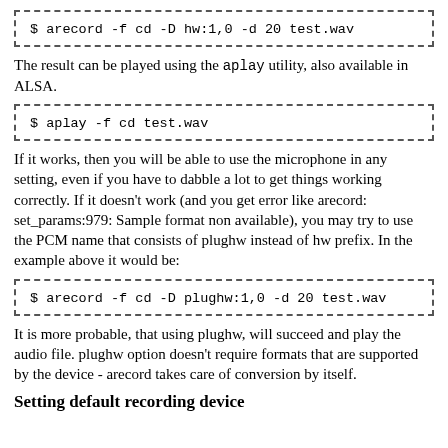[Figure (screenshot): Code block with dashed border: $ arecord -f cd -D hw:1,0 -d 20 test.wav]
The result can be played using the aplay utility, also available in ALSA.
[Figure (screenshot): Code block with dashed border: $ aplay -f cd test.wav]
If it works, then you will be able to use the microphone in any setting, even if you have to dabble a lot to get things working correctly. If it doesn't work (and you get error like arecord: set_params:979: Sample format non available), you may try to use the PCM name that consists of plughw instead of hw prefix. In the example above it would be:
[Figure (screenshot): Code block with dashed border: $ arecord -f cd -D plughw:1,0 -d 20 test.wav]
It is more probable, that using plughw, will succeed and play the audio file. plughw option doesn't require formats that are supported by the device - arecord takes care of conversion by itself.
Setting default recording device